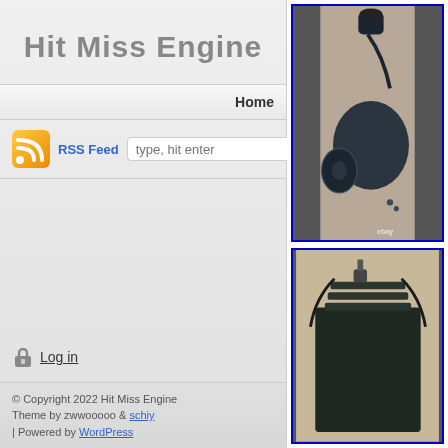Hit Miss Engine
Home
RSS Feed  type, hit enter
Log in
© Copyright 2022 Hit Miss Engine
Theme by zwwooooo & schiy
| Powered by WordPress
[Figure (photo): Photograph of a hit-miss engine (antique stationary engine) in dark blue/black, shown from front, with visible carburetor on top and flywheel mechanism. eBay watermark visible.]
[Figure (photo): Partial photograph of another hit-miss engine showing cylinder head and valve mechanism, dark colored engine on wooden surface.]